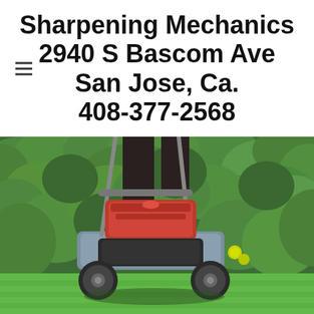Sharpening Mechanics
2940 S Bascom Ave
San Jose, Ca.
408-377-2568
[Figure (photo): A person pushing a gas-powered lawn mower across a green lawn, with a dense green hedge in the background. The red engine of the mower is prominent.]